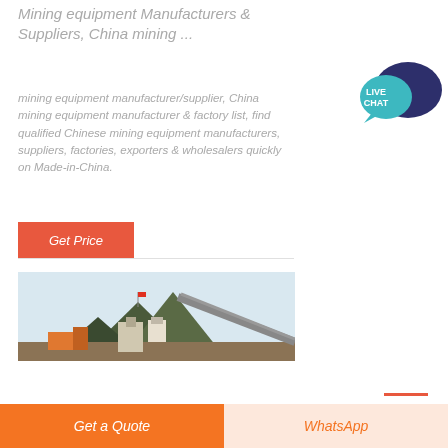Mining equipment Manufacturers & Suppliers, China mining ...
mining equipment manufacturer/supplier, China mining equipment manufacturer & factory list, find qualified Chinese mining equipment manufacturers, suppliers, factories, exporters & wholesalers quickly on Made-in-China.
[Figure (other): Live Chat speech bubble icon with dark blue and teal colors, text LIVE CHAT]
[Figure (photo): Outdoor photo of mining equipment and machinery at a quarry site with mountains in background]
[Figure (other): Orange Get Price button]
[Figure (other): Bottom action bar with orange Get a Quote button and peach WhatsApp button]